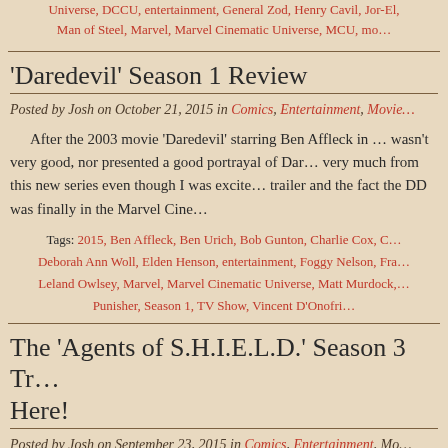Universe, DCCU, entertainment, General Zod, Henry Cavil, Jor-El, Man of Steel, Marvel, Marvel Cinematic Universe, MCU, mo…
'Daredevil' Season 1 Review
Posted by Josh on October 21, 2015 in Comics, Entertainment, Movie…
After the 2003 movie 'Daredevil' starring Ben Affleck in … wasn't very good, nor presented a good portrayal of Dar… very much from this new series even though I was excite… trailer and the fact the DD was finally in the Marvel Cine…
Tags: 2015, Ben Affleck, Ben Urich, Bob Gunton, Charlie Cox, Deborah Ann Woll, Elden Henson, entertainment, Foggy Nelson, Fra… Leland Owlsey, Marvel, Marvel Cinematic Universe, Matt Murdock, Punisher, Season 1, TV Show, Vincent D'Onofri…
The 'Agents of S.H.I.E.L.D.' Season 3 Tr… Here!
Posted by Josh on September 23, 2015 in Comics, Entertainment, Mo…